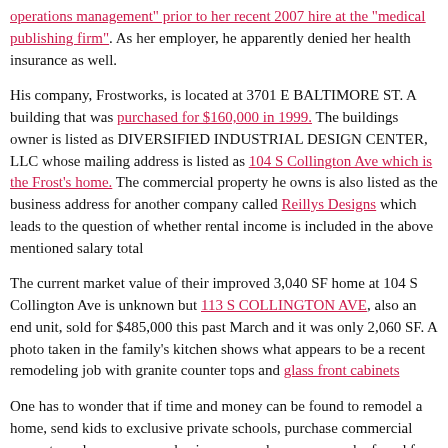operations management" prior to her recent 2007 hire at the "medical publishing firm". As her employer, he apparently denied her health insurance as well.
His company, Frostworks, is located at 3701 E BALTIMORE ST. A building that was purchased for $160,000 in 1999. The buildings owner is listed as DIVERSIFIED INDUSTRIAL DESIGN CENTER, LLC whose mailing address is listed as 104 S Collington Ave which is the Frost's home. The commercial property he owns is also listed as the business address for another company called Reillys Designs which leads to the question of whether rental income is included in the above mentioned salary total
The current market value of their improved 3,040 SF home at 104 S Collington Ave is unknown but 113 S COLLINGTON AVE, also an end unit, sold for $485,000 this past March and it was only 2,060 SF. A photo taken in the family's kitchen shows what appears to be a recent remodeling job with granite counter tops and glass front cabinets
One has to wonder that if time and money can be found to remodel a home, send kids to exclusive private schools, purchase commercial property and run your own business... maybe money can be found for other things...maybe Dad should drop his